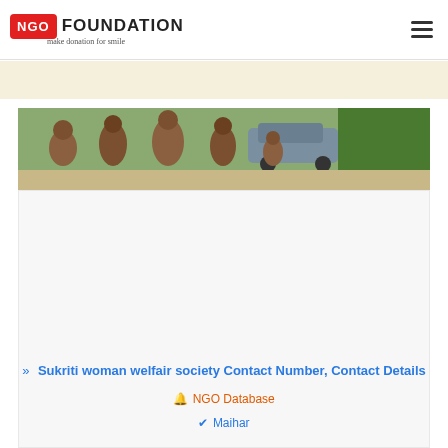NGO FOUNDATION make donation for smile
[Figure (photo): Group of children outdoors near a car and trees]
>> Sukriti woman welfair society Contact Number, Contact Details
🔔 NGO Database
✔ Maihar